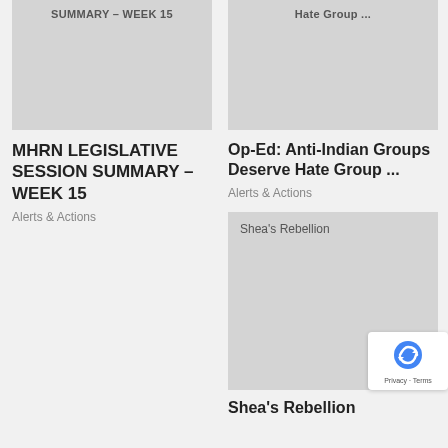[Figure (screenshot): Thumbnail image placeholder for MHRN LEGISLATIVE SESSION SUMMARY - WEEK 15 article, light grey rectangle with truncated title text at top]
[Figure (screenshot): Thumbnail image placeholder for Op-Ed: Anti-Indian Groups Deserve Hate Group article, light grey rectangle with truncated 'Hate Group ...' text at top]
MHRN LEGISLATIVE SESSION SUMMARY – WEEK 15
Alerts & Actions
Op-Ed: Anti-Indian Groups Deserve Hate Group ...
Alerts & Actions
[Figure (screenshot): Thumbnail image placeholder for Shea's Rebellion article, light grey rectangle with title text at top left]
Shea's Rebellion